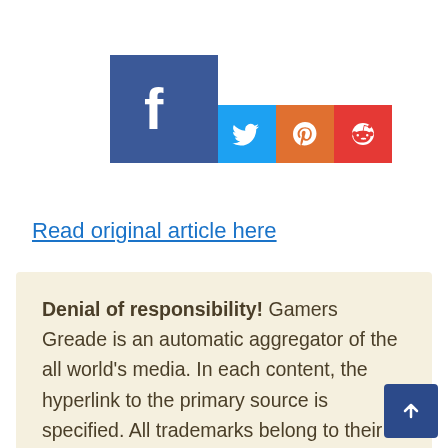[Figure (logo): Social media sharing icons: large Facebook icon (blue square with white 'f'), followed by smaller Twitter (light blue), Pinterest (orange), and Reddit (red) icons]
Read original article here
Denial of responsibility! Gamers Greade is an automatic aggregator of the all world's media. In each content, the hyperlink to the primary source is specified. All trademarks belong to their rightful owners, all materials to their authors. If you are the owner of the content an